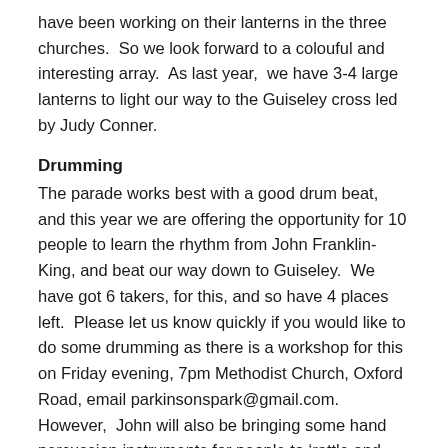have been working on their lanterns in the three churches.  So we look forward to a colouful and interesting array.  As last year,  we have 3-4 large lanterns to light our way to the Guiseley cross led by Judy Conner.
Drumming
The parade works best with a good drum beat, and this year we are offering the opportunity for 10 people to learn the rhythm from John Franklin-King, and beat our way down to Guiseley.  We have got 6 takers, for this, and so have 4 places left.  Please let us know quickly if you would like to do some drumming as there is a workshop for this on Friday evening, 7pm Methodist Church, Oxford Road, email parkinsonspark@gmail.com.  However,  John will also be bringing some hand percussion instruments for people to ‘rattle and roll’ on the day.